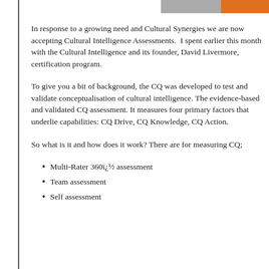[Figure (other): Two colored horizontal bars at top right: gray and orange]
In response to a growing need and Cultural Synergies we are now accepting Cultural Intelligence Assessments. I spent earlier this month with the Cultural Intelligence and its founder, David Livermore, certification program.
To give you a bit of background, the CQ was developed to test and validate conceptualisation of cultural intelligence. The evidence-based and validated CQ assessment. It measures four primary factors that underlie capabilities: CQ Drive, CQ Knowledge, CQ Action.
So what is it and how does it work? There are for measuring CQ;
Multi-Rater 360ï¿½ assessment
Team assessment
Self assessment